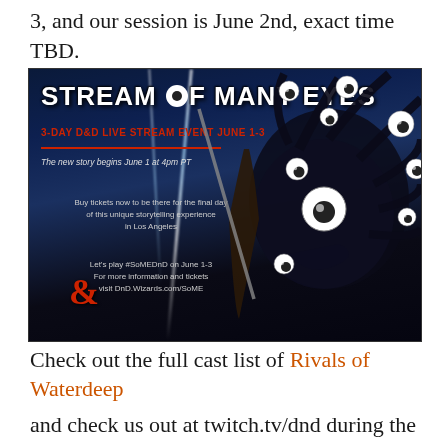3, and our session is June 2nd, exact time TBD.
[Figure (illustration): Stream of Many Eyes promotional image - 3-Day D&D Live Stream Event June 1-3, featuring a beholder monster with googly eyes, a warrior, lightning, and D&D ampersand logo. Text includes: 'STREAM OF MANY EYES', '3-Day D&D Live Stream Event June 1-3', 'The new story begins June 1 at 4pm PT', 'Buy tickets now to be there for the final day of this unique storytelling experience in Los Angeles', 'Let's play #SoMEDnD on June 1-3 For more information and tickets visit DnD.Wizards.com/SoME']
Check out the full cast list of Rivals of Waterdeep
and check us out at twitch.tv/dnd during the